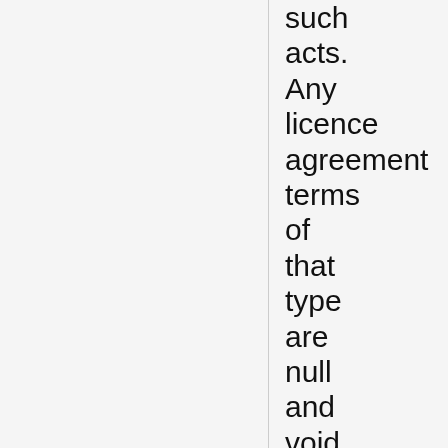such acts. Any licence agreement terms of that type are null and void under British law